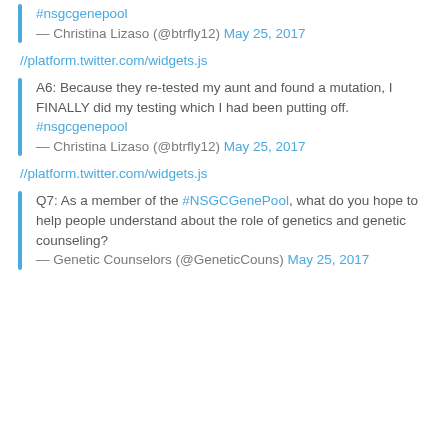#nsgcgenepool
— Christina Lizaso (@btrfly12) May 25, 2017
//platform.twitter.com/widgets.js
A6: Because they re-tested my aunt and found a mutation, I FINALLY did my testing which I had been putting off. #nsgcgenepool
— Christina Lizaso (@btrfly12) May 25, 2017
//platform.twitter.com/widgets.js
Q7: As a member of the #NSGCGenePool, what do you hope to help people understand about the role of genetics and genetic counseling?
— Genetic Counselors (@GeneticCouns) May 25, 2017